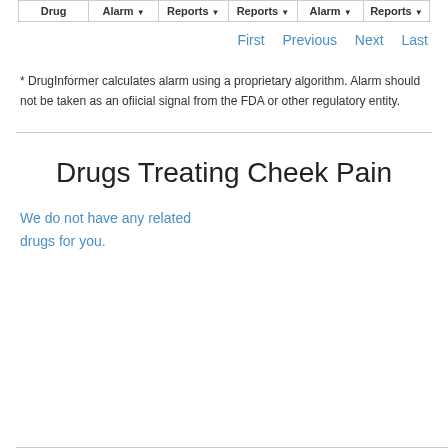| Drug | Alarm ▾ | Reports ▾ | Reports ▾ | Alarm ▾ | Reports ▾ |
| --- | --- | --- | --- | --- | --- |
First   Previous   Next   Last
* DrugInformer calculates alarm using a proprietary algorithm. Alarm should not be taken as an official signal from the FDA or other regulatory entity.
Drugs Treating Cheek Pain
We do not have any related drugs for you.